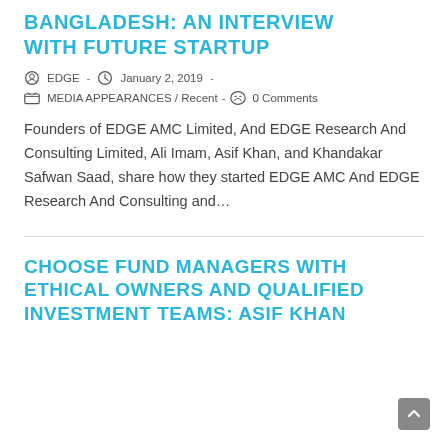BANGLADESH: AN INTERVIEW WITH FUTURE STARTUP
EDGE  ·  January 2, 2019  ·
MEDIA APPEARANCES / Recent  ·  0 Comments
Founders of EDGE AMC Limited, And EDGE Research And Consulting Limited, Ali Imam, Asif Khan, and Khandakar Safwan Saad, share how they started EDGE AMC And EDGE Research And Consulting and…
CHOOSE FUND MANAGERS WITH ETHICAL OWNERS AND QUALIFIED INVESTMENT TEAMS: ASIF KHAN